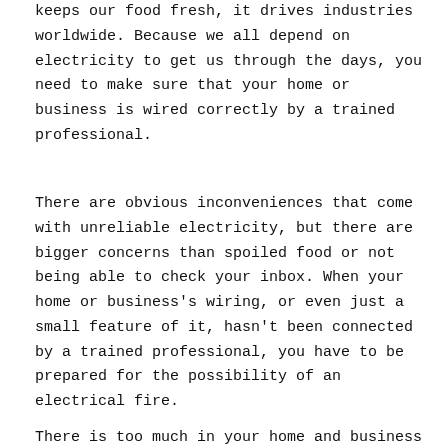keeps our food fresh, it drives industries worldwide. Because we all depend on electricity to get us through the days, you need to make sure that your home or business is wired correctly by a trained professional.
There are obvious inconveniences that come with unreliable electricity, but there are bigger concerns than spoiled food or not being able to check your inbox. When your home or business's wiring, or even just a small feature of it, hasn't been connected by a trained professional, you have to be prepared for the possibility of an electrical fire.
There is too much in your home and business to